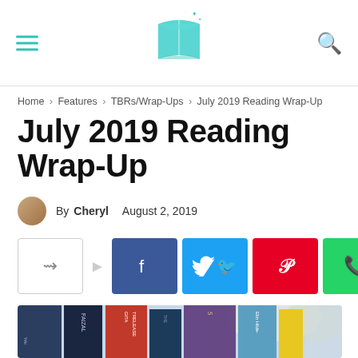Site header with hamburger menu, book logo, and search icon
Home › Features › TBRs/Wrap-Ups › July 2019 Reading Wrap-Up
July 2019 Reading Wrap-Up
By Cheryl   August 2, 2019
[Figure (infographic): Social share buttons: share icon box with arrow, then Facebook (blue), Twitter (light blue), Pinterest (red), WhatsApp (green) buttons]
[Figure (photo): Photo of several book spines including titles by Faizal, Gita Trelease, and others arranged upright against a floral background]